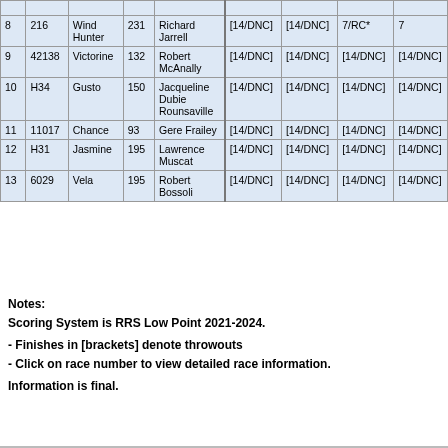|  | Sail# | Boat Name | Rating | Skipper/Crew | R1 | R2 | R3 | R4 |
| --- | --- | --- | --- | --- | --- | --- | --- | --- |
| 8 | 216 | Wind Hunter | 231 | Richard Jarrell | [14/DNC] | [14/DNC] | 7/RC* | 7 |
| 9 | 42138 | Victorine | 132 | Robert McAnally | [14/DNC] | [14/DNC] | [14/DNC] | [14/DNC] |
| 10 | H34 | Gusto | 150 | Jacqueline Dubie Rounsaville | [14/DNC] | [14/DNC] | [14/DNC] | [14/DNC] |
| 11 | 11017 | Chance | 93 | Gere Frailey | [14/DNC] | [14/DNC] | [14/DNC] | [14/DNC] |
| 12 | H31 | Jasmine | 195 | Lawrence Muscat | [14/DNC] | [14/DNC] | [14/DNC] | [14/DNC] |
| 13 | 6029 | Vela | 195 | Robert Bossoli | [14/DNC] | [14/DNC] | [14/DNC] | [14/DNC] |
Notes:
Scoring System is RRS Low Point 2021-2024.

- Finishes in [brackets] denote throwouts
- Click on race number to view detailed race information.

Information is final.